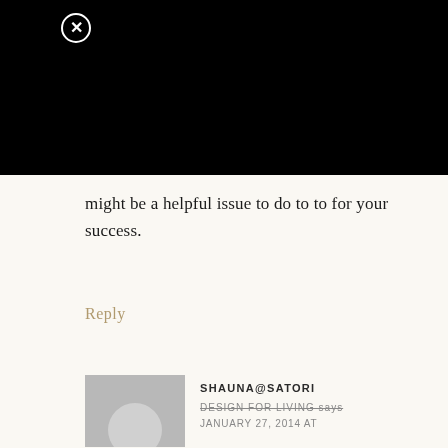[Figure (screenshot): Black top section of a webpage with a close (X) button in the upper left area]
might be a helpful issue to do to to for your success.
Reply
SHAUNA@SATORI
DESIGN FOR LIVING says
JANUARY 27, 2014 AT